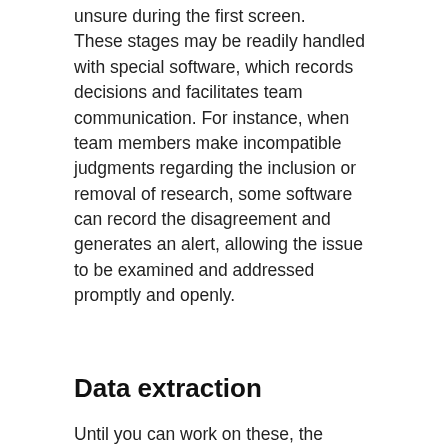unsure during the first screen. These stages may be readily handled with special software, which records decisions and facilitates team communication. For instance, when team members make incompatible judgments regarding the inclusion or removal of research, some software can record the disagreement and generates an alert, allowing the issue to be examined and addressed promptly and openly.
Data extraction
Until you can work on these, the information from the various studies must be extracted in a consistent and trustworthy manner. Here, the data extraction form is your buddy. The precise format will vary according on the data type and nature of the inquiry. The Cochrane Handbook states that the key to success is “creating simple to use forms and collecting adequate and clear